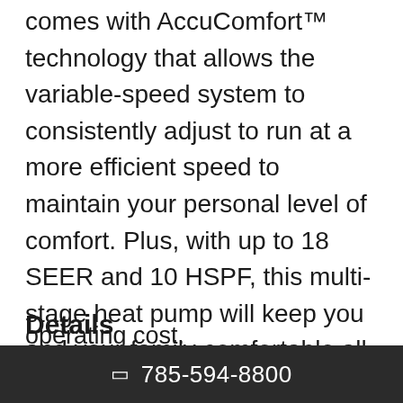Platinum 16 Variable Speed Heat Pump comes with AccuComfort™ technology that allows the variable-speed system to consistently adjust to run at a more efficient speed to maintain your personal level of comfort. Plus, with up to 18 SEER and 10 HSPF, this multi-stage heat pump will keep you and your family comfortable all year round.
Details
Our AccuComfort™ variable speed line of heat pumps work smarter to operating cost.
785-594-8800